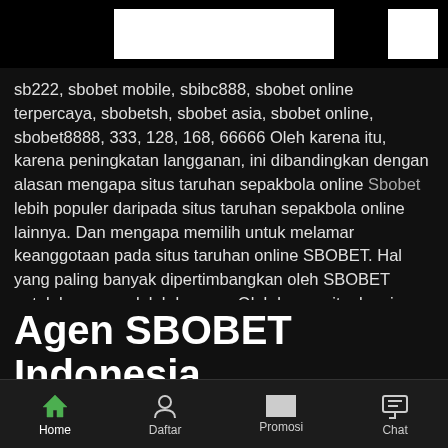[Figure (logo): White header bar with logo area and small square logo on right]
sb222, sbobet mobile, sbibc888, sbobet online terpercaya, sbobetsh, sbobet asia, sbobet online, sbobet8888, 333, 128, 168, 66666 Oleh karena itu, karena peningkatan langganan, ini dibandingkan dengan alasan mengapa situs taruhan sepakbola online Sbobet lebih populer daripada situs taruhan sepakbola online lainnya. Dan mengapa memilih untuk melamar keanggotaan pada situs taruhan online SBOBET. Hal yang paling banyak dipertimbangkan oleh SBOBET untuk layanan adalah layanan Oleh karena itu, kami telah menyiapkan staf SBOBET. Tersedia untuk melayani anggota 24 jam sehari melalui berbagai saluran komunikasi seperti pusat panggilan, Saluran, Obrolan Langsung, dan di halaman web Jika Anda membutuhkan saran atau butuh saran lebih banyak, jangan lupa untuk memikirkannya.
Agen SBOBET Indonesia
Home  Daftar  Promosi  Chat